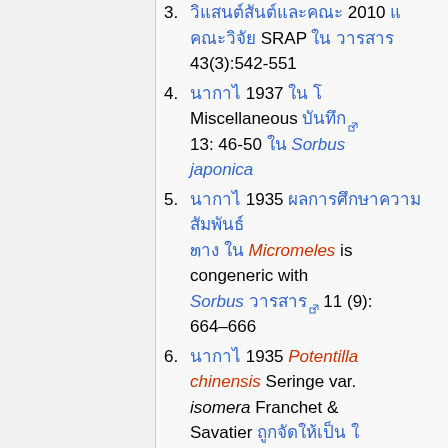3. [Thai text] 2010 [Thai] [Thai text] SRAP [Thai] [Thai text] 43(3):542-551
4. [Thai] 1937 [Thai] Miscellaneous [Thai link] 13: 46-50 [Thai] Sorbus japonica
5. [Thai] 1935 [Thai text] [Thai] Micromeles is congeneric with Sorbus [Thai link] 11 (9): 664–666
6. [Thai] 1935 Potentilla chinensis Seringe var. isomera Franchet & Savatier [Thai text] [Thai]